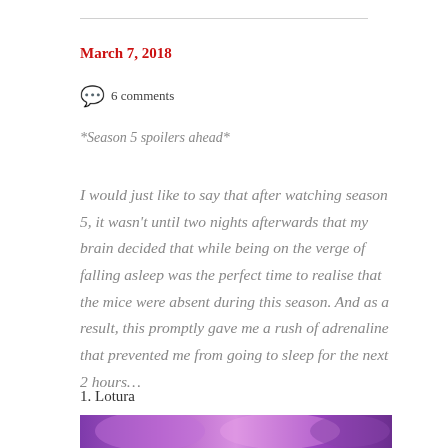March 7, 2018
💬 6 comments
*Season 5 spoilers ahead*
I would just like to say that after watching season 5, it wasn't until two nights afterwards that my brain decided that while being on the verge of falling asleep was the perfect time to realise that the mice were absent during this season. And as a result, this promptly gave me a rush of adrenaline that prevented me from going to sleep for the next 2 hours…
1. Lotura
[Figure (photo): Partial view of an illustrated or animated image with purple and pink color tones, partially visible at the bottom of the page.]